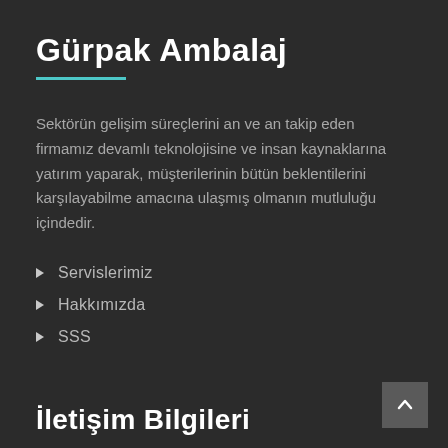Gürpak Ambalaj
Sektörün gelişim süreçlerini an ve an takip eden firmamız devamlı teknolojisine ve insan kaynaklarına yatırım yaparak, müşterilerinin bütün beklentilerini karşılayabilme amacına ulaşmış olmanın mutluluğu içindedir.
Servislerimiz
Hakkımızda
SSS
İletişim Bilgileri